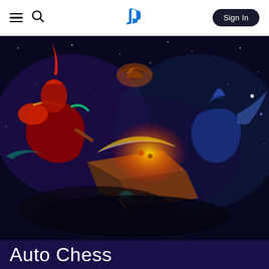PlayStation Store navigation header with hamburger menu, search icon, PlayStation logo, and Sign In button
[Figure (illustration): Auto Chess game promotional artwork showing fantasy game characters including armored warriors and mages emerging from a glowing magical book, set against a dark starry night sky background]
Auto Chess